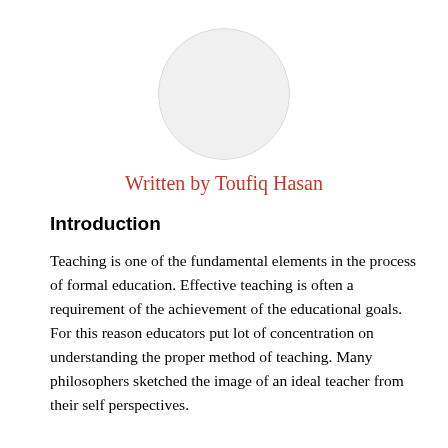[Figure (illustration): Circular avatar placeholder image, light gray circle with slight border, centered on the page]
Written by Toufiq Hasan
Introduction
Teaching is one of the fundamental elements in the process of formal education. Effective teaching is often a requirement of the achievement of the educational goals. For this reason educators put lot of concentration on understanding the proper method of teaching. Many philosophers sketched the image of an ideal teacher from their self perspectives.